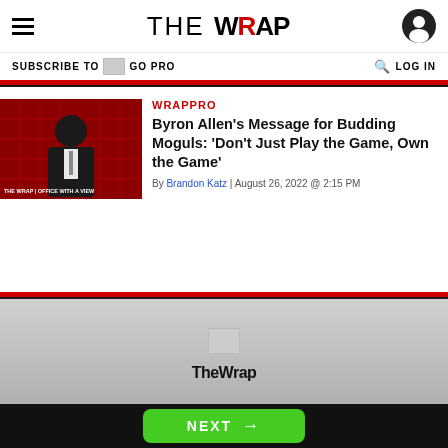THE WRAP
SUBSCRIBE TO GO PRO
LOG IN
WRAPPRO
Byron Allen's Message for Budding Moguls: 'Don't Just Play the Game, Own the Game'
By Brandon Katz | August 26, 2022 @ 2:15 PM
[Figure (photo): Thumbnail image of Byron Allen on a red background with The Wrap Office With a View branding]
[Figure (logo): TheWrap logo in footer area]
TheWrap
NEXT →